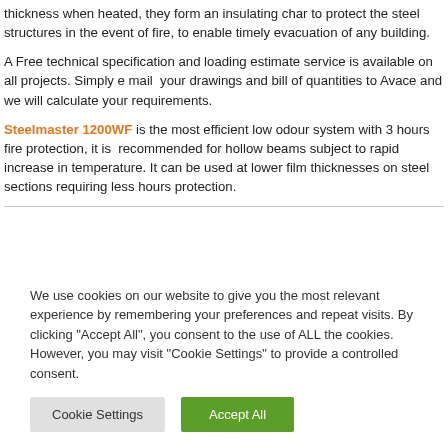thickness when heated, they form an insulating char to protect the steel structures in the event of fire, to enable timely evacuation of any building.
A Free technical specification and loading estimate service is available on all projects. Simply e mail your drawings and bill of quantities to Avace and we will calculate your requirements.
Steelmaster 1200WF is the most efficient low odour system with 3 hours fire protection, it is recommended for hollow beams subject to rapid increase in temperature. It can be used at lower film thicknesses on steel sections requiring less hours protection.
We use cookies on our website to give you the most relevant experience by remembering your preferences and repeat visits. By clicking "Accept All", you consent to the use of ALL the cookies. However, you may visit "Cookie Settings" to provide a controlled consent.